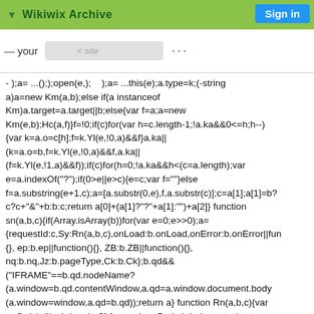▼ Wikiwix Archive
Sign in
— your < site ... Sign in
- );a= ...(););open(e,); );a= ...this(e);a.type=k;(-string a)a=new Km(a,b);else if(a instanceof Km)a.target=a.target||b;else{var f=a;a=new Km(e,b);Hc(a,f)}f=!0;if(c)for(var h=c.length-1;!a.ka&&0<=h;h--){var k=a.o=c[h];f=k.Yl(e,!0,a)&&f}a.ka||(k=a.o=b,f=k.Yl(e,!0,a)&&f,a.ka||(f=k.Yl(e,!1,a)&&f));if(c)for(h=0;!a.ka&&h<(c=a.length);var e=a.indexOf("?");if(0>e||e>c){e=c;var f=""}else f=a.substring(e+1,c);a=[a.substr(0,e),f,a.substr(c)];c=a[1];a[1]=b?c?c+"&"+b:b:c;return a[0]+(a[1]?"?"+a[1]:"")+a[2]} function sn(a,b,c){if(Array.isArray(b))for(var e=0;e>>0);a={requestId:c,Sy:Rn(a,b,c),onLoad:b.onLoad,onError:b.onError||fun{}, ep:b.ep||function(){}, ZB:b.ZB||function(){}, nq:b.nq,Jz:b.pageType,Ck:b.Ck};b.qd&&("IFRAME"==b.qd.nodeName?(a.window=b.qd.contentWindow,a.qd=a.window.document.body)(a.window=window,a.qd=b.qd));return a} function Rn(a,b,c){var e=Sn(a)+"/apis/render?",f=a.ua,h=a.Ba,k=b.helpcenter,l=a.ta,n=a["js_request_id."+c];if(b.extraParams)for(var va in b.extraParams)c.push(va+"."+b.extraParams[va]);a=